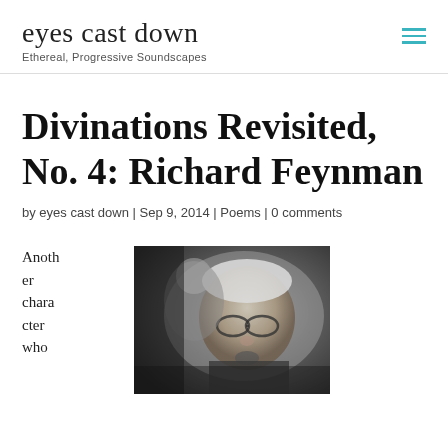eyes cast down
Ethereal, Progressive Soundscapes
Divinations Revisited, No. 4: Richard Feynman
by eyes cast down | Sep 9, 2014 | Poems | 0 comments
Another character who
[Figure (photo): Black and white photograph of an elderly man with glasses, speaking or gesturing, with another person partially visible behind him.]